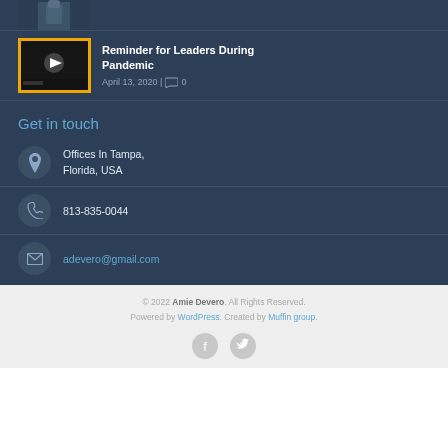[Figure (photo): Partial photo of a person standing, dark background, top portion visible]
[Figure (screenshot): Video thumbnail with play button on yellow background for 'Reminder for Leaders During Pandemic']
Reminder for Leaders During Pandemic
April 13, 2020 | 0
Get in touch
Offices In Tampa, Florida, USA
813-835-0044
adevero@gmail.com
© 2022 Amie Devero. All Rights Reserved. Powered by WordPress. Created by Muffin group.